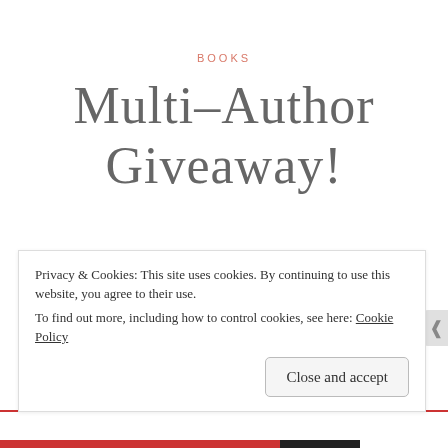BOOKS
Multi-Author Giveaway!
October 1, 2017 · Jessica Minyard · Leave a comment
Happy October, everyone! To kick off the spookiest and
Privacy & Cookies: This site uses cookies. By continuing to use this website, you agree to their use. To find out more, including how to control cookies, see here: Cookie Policy
Close and accept